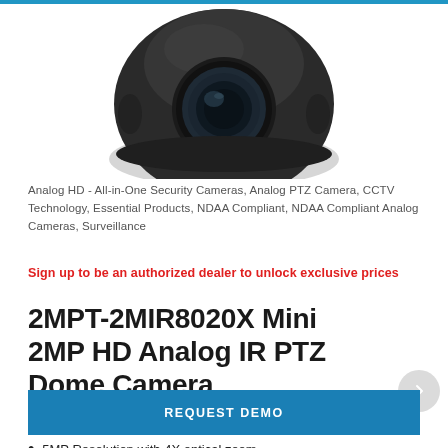[Figure (photo): Black dome PTZ security camera viewed from top/front, showing lens and housing detail on white background]
Analog HD - All-in-One Security Cameras, Analog PTZ Camera, CCTV Technology, Essential Products, NDAA Compliant, NDAA Compliant Analog Cameras, Surveillance
Sign up to be an authorized dealer to unlock exclusive prices
2MPT-2MIR8020X Mini 2MP HD Analog IR PTZ Dome Camera
REQUEST DEMO
5MP Resolution with 4X optical zoom